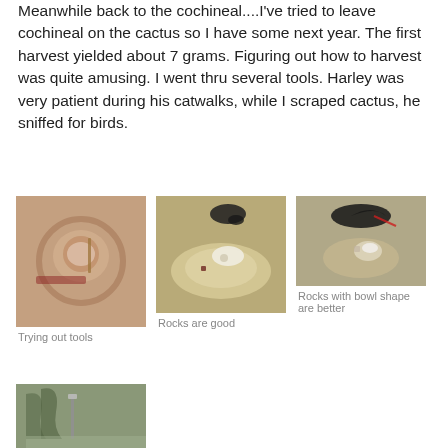Meanwhile back to the cochineal....I've tried to leave cochineal on the cactus so I have some next year.  The first harvest yielded about 7 grams.  Figuring out how to harvest was quite amusing.   I went thru several tools.  Harley was very patient during his catwalks, while I scraped cactus, he sniffed for birds.
[Figure (photo): Close-up of cochineal being harvested into a glass bowl using a tool, with red/pink coloring visible]
Trying out tools
[Figure (photo): Hand holding a rock/cactus pad with white cochineal insects on it, black cat visible in background]
Rocks are good
[Figure (photo): Black cat on top, hand holding a bowl-shaped rock with white cochineal insects]
Rocks with bowl shape are better
[Figure (photo): Partial view of what appears to be a leaf or plant surface with a tool]